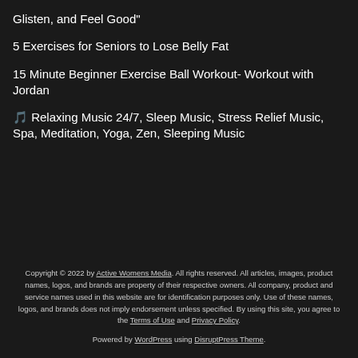Glisten, and Feel Good"
5 Exercises for Seniors to Lose Belly Fat
15 Minute Beginner Exercise Ball Workout- Workout with Jordan
🎵 Relaxing Music 24/7, Sleep Music, Stress Relief Music, Spa, Meditation, Yoga, Zen, Sleeping Music
Copyright © 2022 by Active Womens Media. All rights reserved. All articles, images, product names, logos, and brands are property of their respective owners. All company, product and service names used in this website are for identification purposes only. Use of these names, logos, and brands does not imply endorsement unless specified. By using this site, you agree to the Terms of Use and Privacy Policy. Powered by WordPress using DisruptPress Theme.